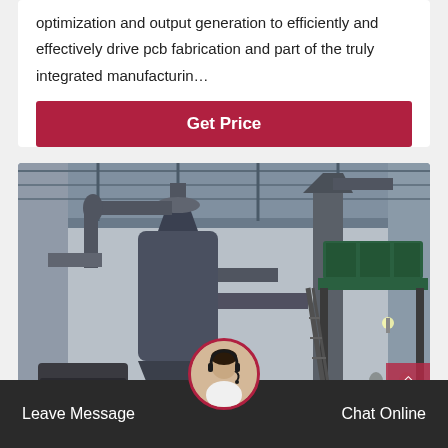optimization and output generation to efficiently and effectively drive pcb fabrication and part of the truly integrated manufacturin…
Get Price
[Figure (photo): Industrial factory interior showing large vertical metal processing/grinding machine with pipes and cyclone separator, a green elevated platform/conveyor on the right, steel structure roof, and workers visible in the background.]
Leave Message
Chat Online